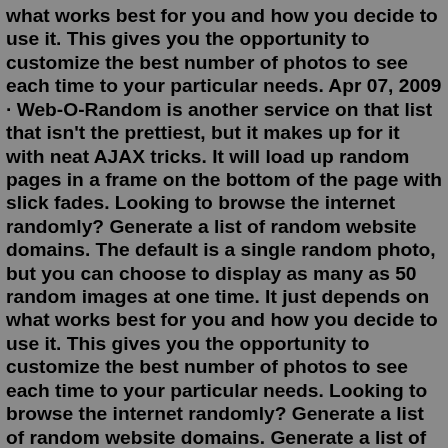what works best for you and how you decide to use it. This gives you the opportunity to customize the best number of photos to see each time to your particular needs. Apr 07, 2009 · Web-O-Random is another service on that list that isn't the prettiest, but it makes up for it with neat AJAX tricks. It will load up random pages in a frame on the bottom of the page with slick fades. Looking to browse the internet randomly? Generate a list of random website domains. The default is a single random photo, but you can choose to display as many as 50 random images at one time. It just depends on what works best for you and how you decide to use it. This gives you the opportunity to customize the best number of photos to see each time to your particular needs. Looking to browse the internet randomly? Generate a list of random website domains. Generate a list of random URLs with varying protocols, TLDs, page paths, query strings, and/or hashes. For safety, all use the proper "example" domain.Looking to browse the internet randomly? Generate a list of random website